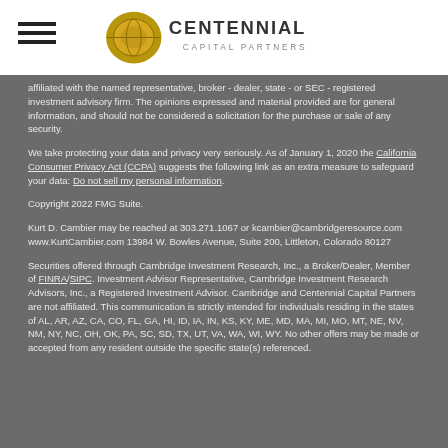Centennial Capital Partners
affiliated with the named representative, broker - dealer, state - or SEC - registered investment advisory firm. The opinions expressed and material provided are for general information, and should not be considered a solicitation for the purchase or sale of any security.
We take protecting your data and privacy very seriously. As of January 1, 2020 the California Consumer Privacy Act (CCPA) suggests the following link as an extra measure to safeguard your data: Do not sell my personal information.
Copyright 2022 FMG Suite.
Kurt D. Cambier may be reached at 303.271.1067 or kcambier@cambridgeresource.com www.KurtCambier.com 13984 W. Bowles Avenue, Suite 200, Littleton, Colorado 80127
Securities offered through Cambridge Investment Research, Inc., a Broker/Dealer, Member of FINRA/SIPC. Investment Advisor Representative, Cambridge Investment Research Advisors, Inc., a Registered Investment Advisor. Cambridge and Centennial Capital Partners are not affiliated. This communication is strictly intended for individuals residing in the states of AL, AR, AZ, CA, CO, FL, GA, HI, ID, IA, IN, KS, KY, ME, MD, MA, MI, MO, MT, NE, NV, NM, NY, NC, OH, OK, PA, SC, SD, TX, UT, VA, WA, WI, WY. No other offers may be made or accepted from any resident outside the specific state(s) referenced.